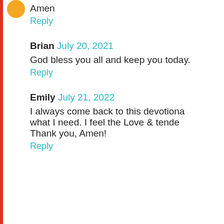Amen
Reply
Brian July 20, 2021
God bless you all and keep you today.
Reply
Emily July 21, 2022
I always come back to this devotional when what I need. I feel the Love & tenderness. Thank you, Amen!
Reply